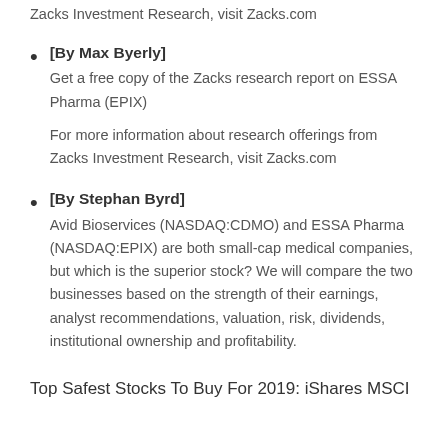Zacks Investment Research, visit Zacks.com
[By Max Byerly] Get a free copy of the Zacks research report on ESSA Pharma (EPIX)

For more information about research offerings from Zacks Investment Research, visit Zacks.com
[By Stephan Byrd] Avid Bioservices (NASDAQ:CDMO) and ESSA Pharma (NASDAQ:EPIX) are both small-cap medical companies, but which is the superior stock? We will compare the two businesses based on the strength of their earnings, analyst recommendations, valuation, risk, dividends, institutional ownership and profitability.
Top Safest Stocks To Buy For 2019: iShares MSCI